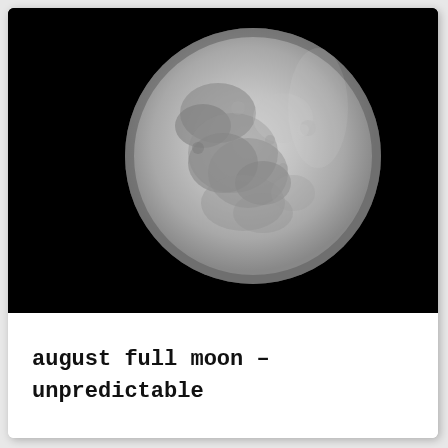[Figure (photo): Black and white photograph of a full moon against a completely black night sky. The moon is large, centered-right in the frame, showing detailed surface features including maria (dark regions) and various craters.]
august full moon - unpredictable